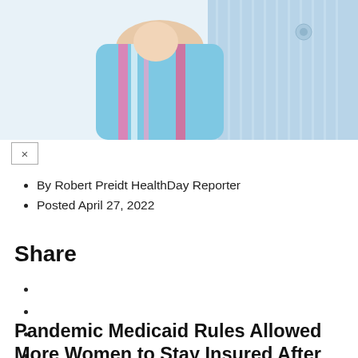[Figure (photo): Close-up photo of a person holding a newborn baby wrapped in a striped blue, pink, and white blanket. The adult is wearing a light blue striped shirt.]
By Robert Preidt HealthDay Reporter
Posted April 27, 2022
Share
Pandemic Medicaid Rules Allowed More Women to Stay Insured After Childbirth